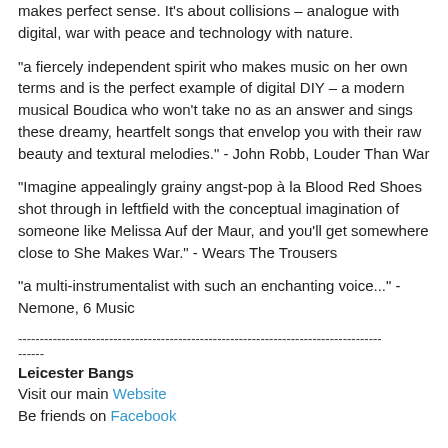makes perfect sense. It's about collisions – analogue with digital, war with peace and technology with nature.
“a fiercely independent spirit who makes music on her own terms and is the perfect example of digital DIY – a modern musical Boudica who won’t take no as an answer and sings these dreamy, heartfelt songs that envelop you with their raw beauty and textural melodies.” - John Robb, Louder Than War
"Imagine appealingly grainy angst-pop à la Blood Red Shoes shot through in leftfield with the conceptual imagination of someone like Melissa Auf der Maur, and you’ll get somewhere close to She Makes War." - Wears The Trousers
"a multi-instrumentalist with such an enchanting voice..." - Nemone, 6 Music
------------------------------------------------------------------------------------
------
Leicester Bangs
Visit our main Website
Be friends on Facebook